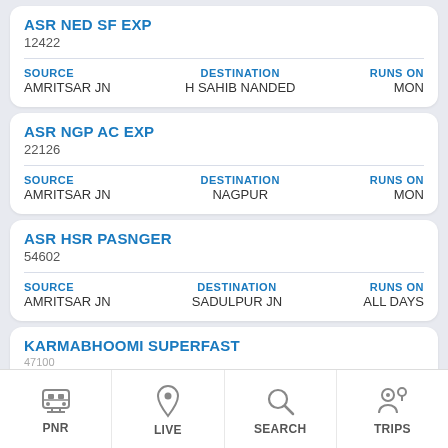ASR NED SF EXP
12422
SOURCE: AMRITSAR JN | DESTINATION: H SAHIB NANDED | RUNS ON: MON
ASR NGP AC EXP
22126
SOURCE: AMRITSAR JN | DESTINATION: NAGPUR | RUNS ON: MON
ASR HSR PASNGER
54602
SOURCE: AMRITSAR JN | DESTINATION: SADULPUR JN | RUNS ON: ALL DAYS
KARMABHOOMI SUPERFAST
PNR | LIVE | SEARCH | TRIPS